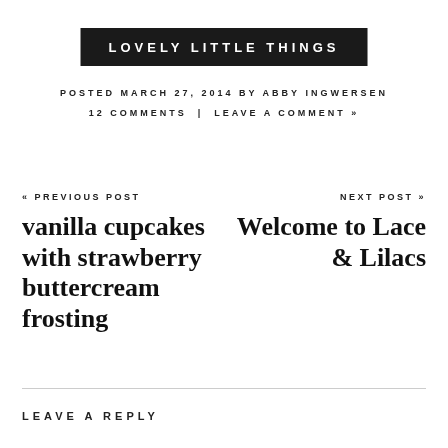LOVELY LITTLE THINGS
POSTED MARCH 27, 2014 BY ABBY INGWERSEN
12 COMMENTS | LEAVE A COMMENT »
« PREVIOUS POST
vanilla cupcakes with strawberry buttercream frosting
NEXT POST »
Welcome to Lace & Lilacs
LEAVE A REPLY